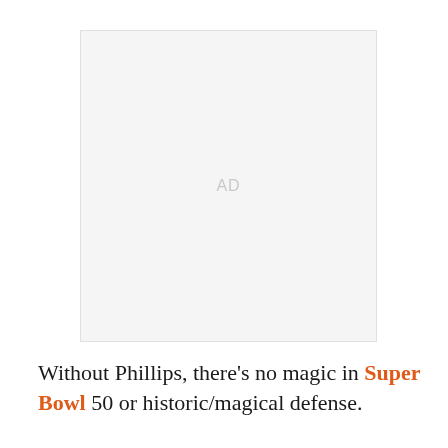[Figure (other): Advertisement placeholder box with 'AD' label in light gray]
Without Phillips, there's no magic in Super Bowl 50 or historic/magical defense.
The NFL lost a true icon on Tuesday. The greatest defensive coach in history, and the guy who, in a roundabout way, helped to make the recent season for